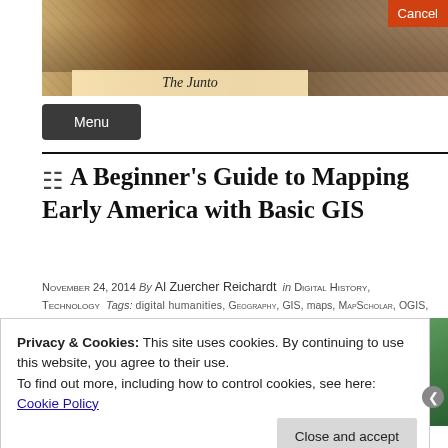[Figure (photo): The Junto website header banner showing a historical painting of a group of men in 18th-century attire gathered together, with the text 'The Junto' overlaid on a light background at the bottom left]
Cancel
Menu
A Beginner's Guide to Mapping Early America with Basic GIS
November 24, 2014 By Al Zuercher Reichardt in Digital History, Technology Tags: digital humanities, Geography, GIS, maps, MapScholar, OGIS, software, spatial history, 9 Comments
Privacy & Cookies: This site uses cookies. By continuing to use this website, you agree to their use.
To find out more, including how to control cookies, see here: Cookie Policy
Close and accept
Advertisements